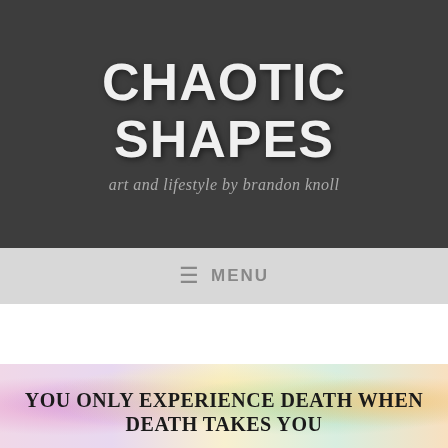CHAOTIC SHAPES
art and lifestyle by brandon knoll
≡ MENU
[Figure (illustration): Colorful pastel watercolor background with rainbow gradient colors (pink, yellow, blue, green, purple) forming a soft blurred abstract image]
YOU ONLY EXPERIENCE DEATH WHEN DEATH TAKES YOU
Follow ...